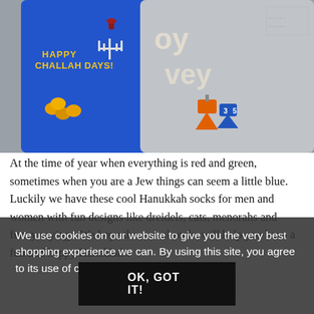[Figure (photo): Two Hanukkah-themed socks side by side. Left sock is blue with text 'HAPPY CHALLAH DAYS!' and Hanukkah imagery (menorah, dreidels, coins, wine glass). Right sock is grey with Hebrew text and dreidels.]
At the time of year when everything is red and green, sometimes when you are a Jew things can seem a little blue. Luckily we have these cool Hanukkah socks for men and women with fun designs like dreidels, cats, menorahs and funny sayings. We hope these cool socks will help you have a fun and happy Hanukkah!
We use cookies on our website to give you the very best shopping experience we can. By using this site, you agree to its use of cookies.
OK, GOT IT!